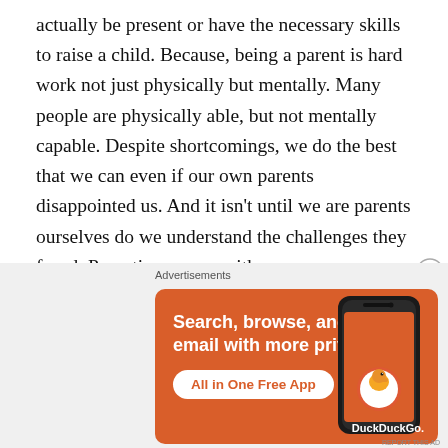actually be present or have the necessary skills to raise a child. Because, being a parent is hard work not just physically but mentally. Many people are physically able, but not mentally capable. Despite shortcomings, we do the best that we can even if our own parents disappointed us. And it isn't until we are parents ourselves do we understand the challenges they faced. Parenting comes with an enormous amount of responsibility; you are in charge of another human life. Sometimes you feel guilty for not doing enough, because we want to be perfect. But, none of us are, of course.
[Figure (other): DuckDuckGo advertisement banner on orange background. Text reads: 'Search, browse, and email with more privacy. All in One Free App' with DuckDuckGo logo and phone graphic.]